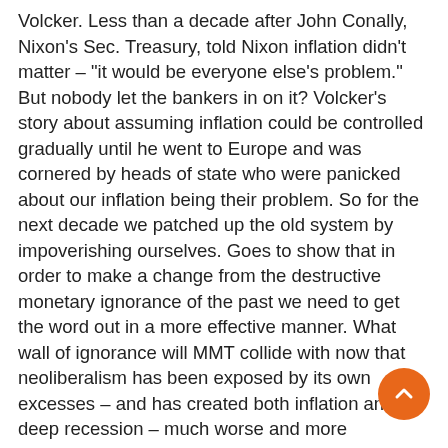Volcker. Less than a decade after John Conally, Nixon's Sec. Treasury, told Nixon inflation didn't matter – "it would be everyone else's problem." But nobody let the bankers in on it? Volcker's story about assuming inflation could be controlled gradually until he went to Europe and was cornered by heads of state who were panicked about our inflation being their problem. So for the next decade we patched up the old system by impoverishing ourselves. Goes to show that in order to make a change from the destructive monetary ignorance of the past we need to get the word out in a more effective manner. What wall of ignorance will MMT collide with now that neoliberalism has been exposed by its own excesses – and has created both inflation and deep recession – much worse and more intractable that the stagflation of the 70s. (But still prefers to deny all this dysfunction.) All this misery because we were brainwashed into thinking by gold standard assumptions. Even after Nixon defenestrated the whole idea. So, just thinking about all the lost opportunity to create a sustainable economy – we should have let Europe find their own balance instead of abandoning our political-economy instincts. We had understood quite well – since the 50s – that neither socialism nor capitalism worked to maintain a healthy society. But the thought of Europe going even more socialist was just too commie for